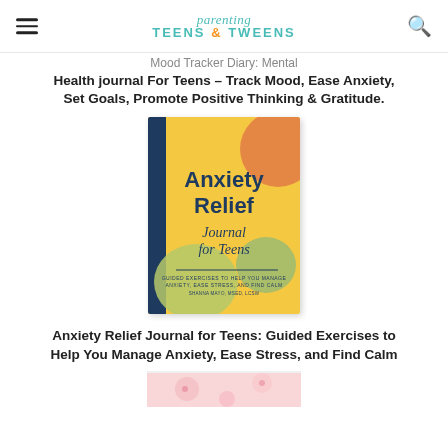parenting TEENS & TWEENS
Mood Tracker Diary: Mental Health journal For Teens – Track Mood, Ease Anxiety, Set Goals, Promote Positive Thinking & Gratitude.
[Figure (photo): Book cover of 'Anxiety Relief Journal for Teens' with colorful abstract shapes on a yellow background, dark blue spine, subtitle 'Guided Exercises to Help You Manage Anxiety, Ease Stress, and Find Calm']
Anxiety Relief Journal for Teens: Guided Exercises to Help You Manage Anxiety, Ease Stress, and Find Calm
[Figure (photo): Partial view of another book with pink/floral cover, cropped at bottom of page]